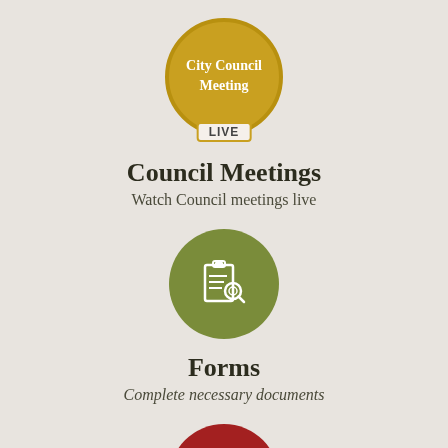[Figure (illustration): Gold circle with 'City Council Meeting' text and 'LIVE' badge at bottom]
Council Meetings
Watch Council meetings live
[Figure (illustration): Green circle with clipboard and magnifying glass icon]
Forms
Complete necessary documents
[Figure (illustration): Red circle with info/speech bubble icon]